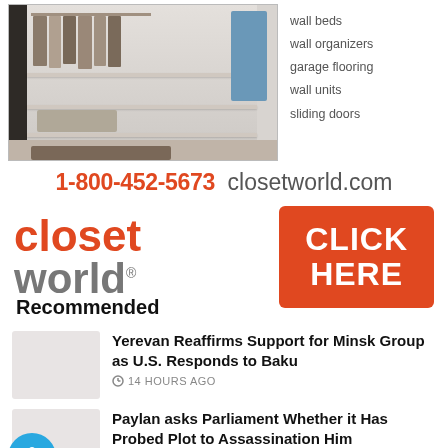[Figure (photo): Closet World advertisement showing a walk-in closet with shelving, hanging clothes, and blue clothing item on the right. Text lists: wall beds, wall organizers, garage flooring, wall units, sliding doors. Phone number 1-800-452-5673 and website closetworld.com shown. Closet World logo with red 'closet' and gray 'world' text. Orange CLICK HERE button.]
Recommended
Yerevan Reaffirms Support for Minsk Group as U.S. Responds to Baku
14 HOURS AGO
Paylan asks Parliament Whether it Has Probed Plot to Assassination Him